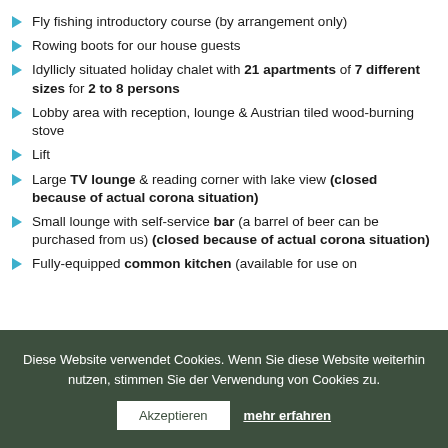Fly fishing introductory course (by arrangement only)
Rowing boots for our house guests
Idyllicly situated holiday chalet with 21 apartments of 7 different sizes for 2 to 8 persons
Lobby area with reception, lounge & Austrian tiled wood-burning stove
Lift
Large TV lounge & reading corner with lake view (closed because of actual corona situation)
Small lounge with self-service bar (a barrel of beer can be purchased from us) (closed because of actual corona situation)
Fully-equipped common kitchen (available for use on
Diese Website verwendet Cookies. Wenn Sie diese Website weiterhin nutzen, stimmen Sie der Verwendung von Cookies zu.